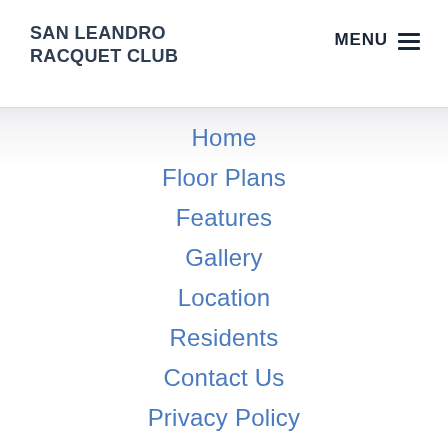SAN LEANDRO RACQUET CLUB
MENU ☰
Home
Floor Plans
Features
Gallery
Location
Residents
Contact Us
Privacy Policy